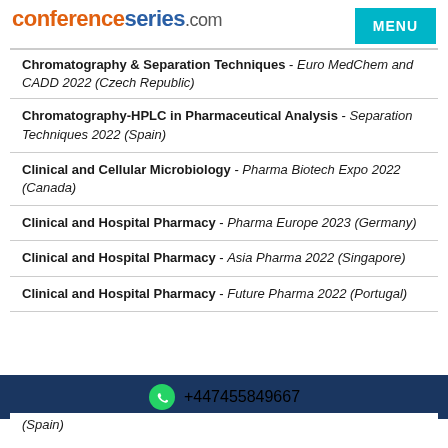conferenceseries.com
Chromatography & Separation Techniques - Euro MedChem and CADD 2022 (Czech Republic)
Chromatography-HPLC in Pharmaceutical Analysis - Separation Techniques 2022 (Spain)
Clinical and Cellular Microbiology - Pharma Biotech Expo 2022 (Canada)
Clinical and Hospital Pharmacy - Pharma Europe 2023 (Germany)
Clinical and Hospital Pharmacy - Asia Pharma 2022 (Singapore)
Clinical and Hospital Pharmacy - Future Pharma 2022 (Portugal)
+447455849667
(Spain)